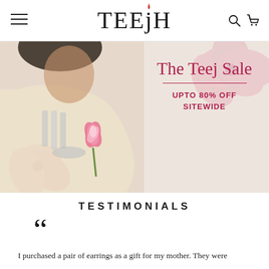TEEJH — Navigation header with hamburger menu, logo, search and cart icons
[Figure (photo): Promotional banner for The Teej Sale showing a woman in a cream saree wearing oxidized silver jewelry including necklace, earrings, bangles and rings, holding a pink lotus flower. Pink floral pattern in background. Text overlay reads: The Teej Sale / UPTO 80% OFF SITEWIDE]
TESTIMONIALS
I purchased a pair of earrings as a gift for my mother. They were